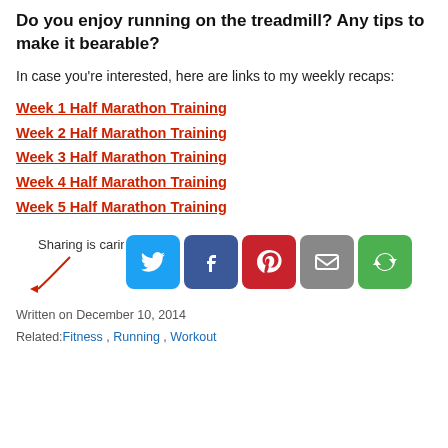Do you enjoy running on the treadmill?  Any tips to make it bearable?
In case you're interested, here are links to my weekly recaps:
Week 1 Half Marathon Training
Week 2 Half Marathon Training
Week 3 Half Marathon Training
Week 4 Half Marathon Training
Week 5 Half Marathon Training
[Figure (infographic): Sharing is caring! social sharing buttons: Twitter (blue), Facebook (dark blue), Pinterest (red), Email (grey), Other (green)]
Written on December 10, 2014
Related: Fitness, Running, Workout